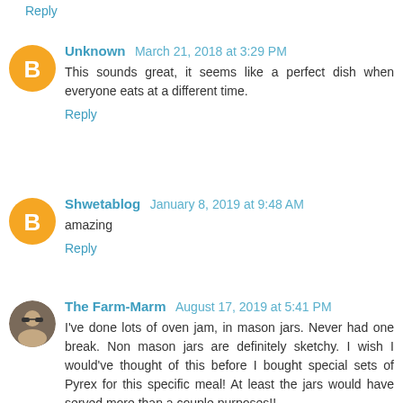Reply
Unknown March 21, 2018 at 3:29 PM
This sounds great, it seems like a perfect dish when everyone eats at a different time.
Reply
Shwetablog January 8, 2019 at 9:48 AM
amazing
Reply
The Farm-Marm August 17, 2019 at 5:41 PM
I've done lots of oven jam, in mason jars. Never had one break. Non mason jars are definitely sketchy. I wish I would've thought of this before I bought special sets of Pyrex for this specific meal! At least the jars would have served more than a couple purposes!!